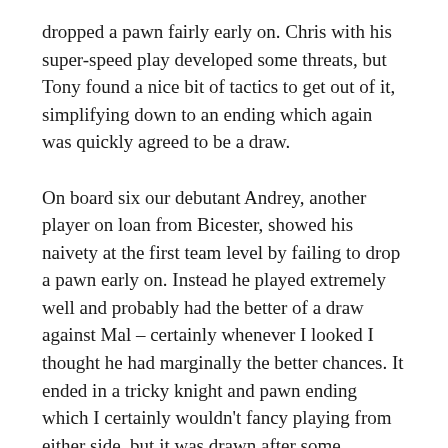dropped a pawn fairly early on. Chris with his super-speed play developed some threats, but Tony found a nice bit of tactics to get out of it, simplifying down to an ending which again was quickly agreed to be a draw.
On board six our debutant Andrey, another player on loan from Bicester, showed his naivety at the first team level by failing to drop a pawn early on. Instead he played extremely well and probably had the better of a draw against Mal – certainly whenever I looked I thought he had marginally the better chances. It ended in a tricky knight and pawn ending which I certainly wouldn't fancy playing from either side, but it was drawn after some inventive attempts from both black and white – Andrey forking Mal's king and knight with his own knight in an effort to force a pawn through was particularly nice, unfortunately declining the sac